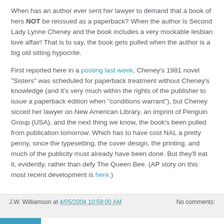When has an author ever sent her lawyer to demand that a book of hers NOT be reissued as a paperback? When the author is Second Lady Lynne Cheney and the book includes a very mockable lesbian love affair! That is to say, the book gets pulled when the author is a big old sitting hypocrite.
First reported here in a posting last week, Cheney's 1981 novel "Sisters" was scheduled for paperback treatment without Cheney's knowledge (and it's very much within the rights of the publisher to issue a paperback edition when "conditions warrant"), but Cheney sicced her lawyer on New American Library, an imprint of Penguin Group (USA), and the next thing we know, the book's been pulled from publication tomorrow. Which has to have cost NAL a pretty penny, since the typesetting, the cover design, the printing, and much of the publicity must already have been done. But they'll eat it, evidently, rather than defy The Queen Bee. (AP story on this most recent development is here.)
J.W. Williamson at 4/05/2004 10:59:00 AM   No comments: